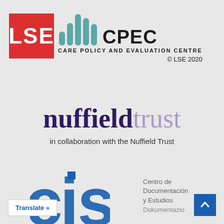[Figure (logo): LSE red square logo with white LSE text]
[Figure (logo): CPEC Care Policy and Evaluation Centre logo with teal bar chart icon and text CPEC, subtitle CARE POLICY AND EVALUATION CENTRE, copyright LSE 2020]
[Figure (logo): Nuffield Trust logo with dark purple 'nuffield' and light purple 'trust' in serif font]
in collaboration with the Nuffield Trust
[Figure (logo): CIS logo partially visible at bottom left - Centro de Documentacion y Estudios / Dokumentazio]
Centro de Documentación y Estudios
Dokumentazio
Translate »
[Figure (other): Blue scroll-to-top arrow button]